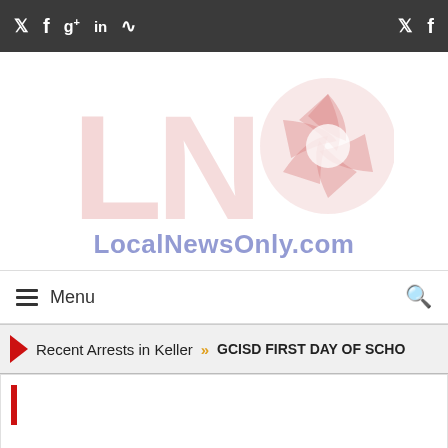Social icons bar: Twitter, Facebook, Google+, LinkedIn, RSS (left); Twitter, Facebook (right)
[Figure (logo): LNO LocalNewsOnly.com logo — large pink/red watermark letters L, N, O with a camera aperture icon in the O, and the text LocalNewsOnly.com in blue below]
Menu (hamburger navigation bar with search icon)
Recent Arrests in Keller  »  GCISD FIRST DAY OF SCHO